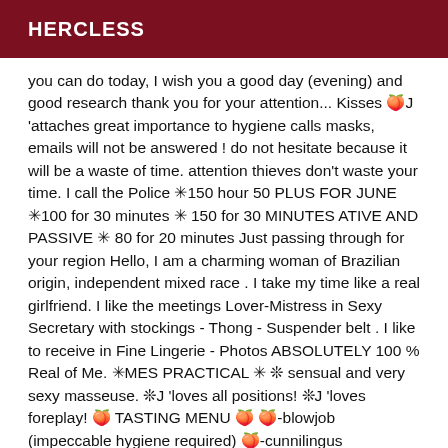HERCLESS
you can do today, I wish you a good day (evening) and good research thank you for your attention... Kisses 🍑J 'attaches great importance to hygiene calls masks, emails will not be answered ! do not hesitate because it will be a waste of time. attention thieves don't waste your time. I call the Police ✳150 hour 50 PLUS FOR JUNE ✳100 for 30 minutes ✳ 150 for 30 MINUTES ATIVE AND PASSIVE ✳ 80 for 20 minutes Just passing through for your region Hello, I am a charming woman of Brazilian origin, independent mixed race . I take my time like a real girlfriend. I like the meetings Lover-Mistress in Sexy Secretary with stockings - Thong - Suspender belt . I like to receive in Fine Lingerie - Photos ABSOLUTELY 100 % Real of Me. ✳MES PRACTICAL ✳ ❊ sensual and very sexy masseuse. ❊J 'loves all positions! ❊J 'loves foreplay! 🍑 TASTING MENU 🍑 🍑-blowjob (impeccable hygiene required) 🍑-cunnilingus 🍑/anulingus 🍑-intense preliminaries 🍑 -reports all positions (